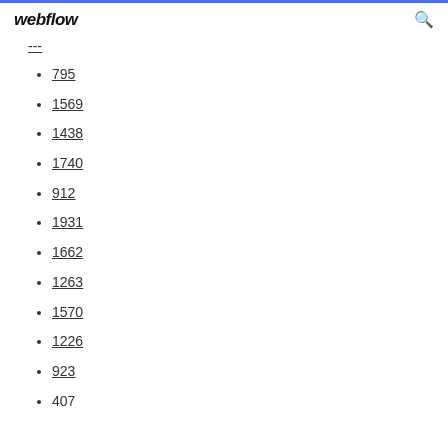webflow
...
795
1569
1438
1740
912
1931
1662
1263
1570
1226
923
407